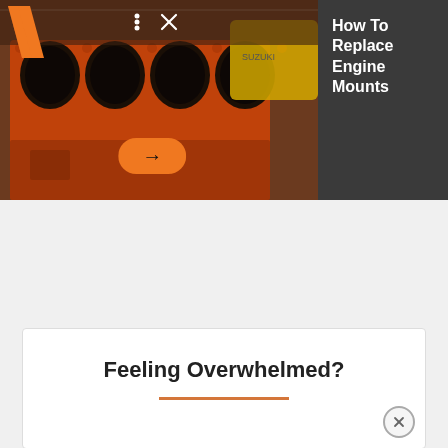[Figure (photo): Engine block photo showing an orange painted engine block with cylinder bores visible, and a yellow Suzuki motorcycle in the background. UI overlay shows a logo slash, three dots icon, X icon, and an orange arrow button.]
How To Replace Engine Mounts
Feeling Overwhelmed?